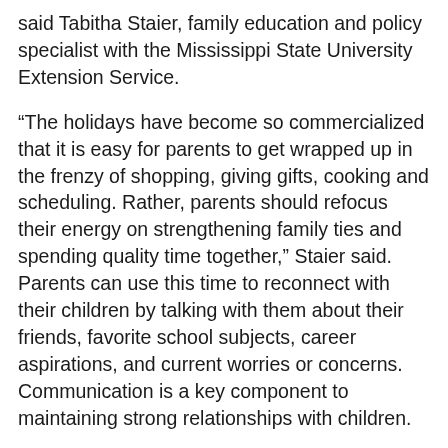said Tabitha Staier, family education and policy specialist with the Mississippi State University Extension Service.
“The holidays have become so commercialized that it is easy for parents to get wrapped up in the frenzy of shopping, giving gifts, cooking and scheduling. Rather, parents should refocus their energy on strengthening family ties and spending quality time together,” Staier said. Parents can use this time to reconnect with their children by talking with them about their friends, favorite school subjects, career aspirations, and current worries or concerns. Communication is a key component to maintaining strong relationships with children.
“Establishing a strong channel of communication increases the likelihood that children will confide in and depend on their parents for help in difficult times throughout the year,” Staier said.
Participating in activities important to the child is